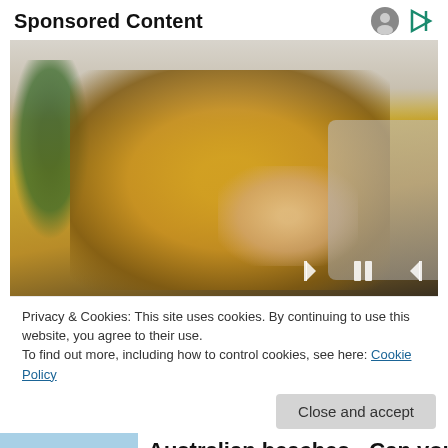Sponsored Content
[Figure (photo): A blonde woman in a yellow knitted sweater sitting on a couch, looking at her arm/elbow with a concerned expression. She has dark-painted nails. A green plant and light-colored sofa are visible in the background. Media player controls (skip back, pause, skip forward) are overlaid at the bottom right of the image.]
Privacy & Cookies: This site uses cookies. By continuing to use this website, you agree to their use.
To find out more, including how to control cookies, see here: Cookie Policy
Close and accept
Australian beaches - Can you